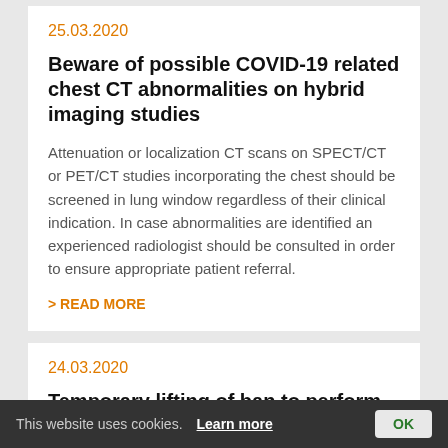25.03.2020
Beware of possible COVID-19 related chest CT abnormalities on hybrid imaging studies
Attenuation or localization CT scans on SPECT/CT or PET/CT studies incorporating the chest should be screened in lung window regardless of their clinical indication. In case abnormalities are identified an experienced radiologist should be consulted in order to ensure appropriate patient referral.
> READ MORE
24.03.2020
Temporary lifting of ban to perform stand-alone CT on hybrid imaging devices by RIZIV/INAMI
This website uses cookies. Learn more OK